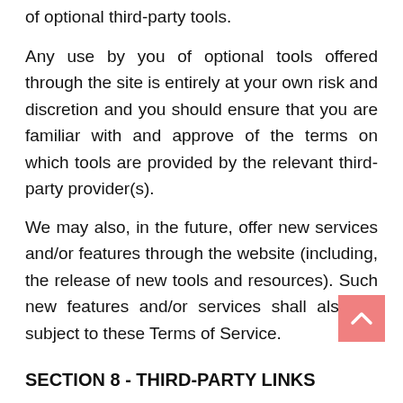of optional third-party tools.
Any use by you of optional tools offered through the site is entirely at your own risk and discretion and you should ensure that you are familiar with and approve of the terms on which tools are provided by the relevant third-party provider(s).
We may also, in the future, offer new services and/or features through the website (including, the release of new tools and resources). Such new features and/or services shall also be subject to these Terms of Service.
SECTION 8 - THIRD-PARTY LINKS